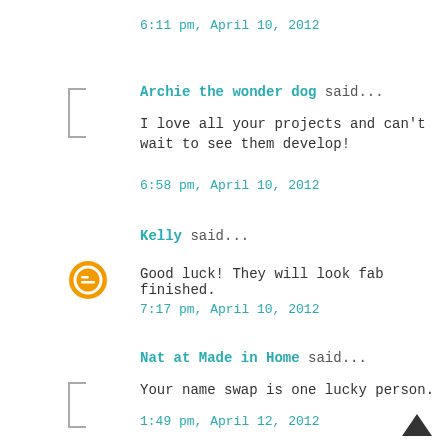6:11 pm, April 10, 2012
Archie the wonder dog said...
I love all your projects and can't wait to see them develop!
6:58 pm, April 10, 2012
Kelly said...
Good luck! They will look fab finished.
7:17 pm, April 10, 2012
Nat at Made in Home said...
Your name swap is one lucky person.
1:49 pm, April 12, 2012